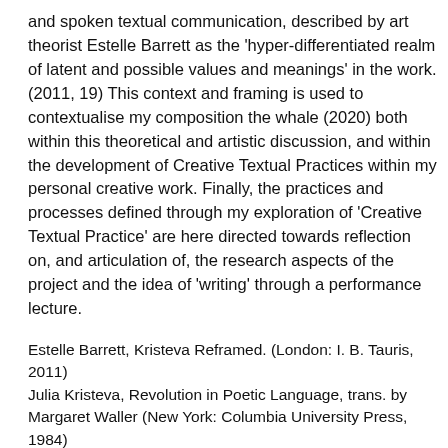and spoken textual communication, described by art theorist Estelle Barrett as the 'hyper-differentiated realm of latent and possible values and meanings' in the work. (2011, 19) This context and framing is used to contextualise my composition the whale (2020) both within this theoretical and artistic discussion, and within the development of Creative Textual Practices within my personal creative work. Finally, the practices and processes defined through my exploration of 'Creative Textual Practice' are here directed towards reflection on, and articulation of, the research aspects of the project and the idea of 'writing' through a performance lecture.
Estelle Barrett, Kristeva Reframed. (London: I. B. Tauris, 2011)
Julia Kristeva, Revolution in Poetic Language, trans. by Margaret Waller (New York: Columbia University Press, 1984)